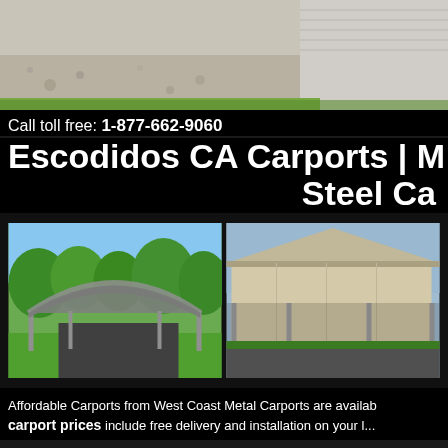[Figure (photo): Top photo showing a gravel driveway area beside a building with siding]
Call toll free: 1-877-662-9060
Escodidos CA Carports | M... Steel Ca...
[Figure (photo): Two carport photos side by side: left shows an open metal arch-roof carport over a driveway surrounded by green trees; right shows a beige enclosed carport/garage structure]
Affordable Carports from West Coast Metal Carports are availab... carport prices include free delivery and installation on your l...